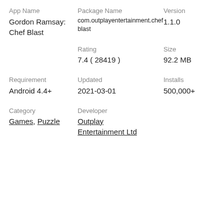| App Name | Package Name | Version |
| --- | --- | --- |
| Gordon Ramsay: Chef Blast | com.outplayentertainment.chefblast | 1.1.0 |
|  | Rating | Size |
|  | 7.4 ( 28419 ) | 92.2 MB |
| Requirement | Updated | Installs |
| Android 4.4+ | 2021-03-01 | 500,000+ |
| Category | Developer |  |
| Games, Puzzle | Outplay Entertainment Ltd |  |